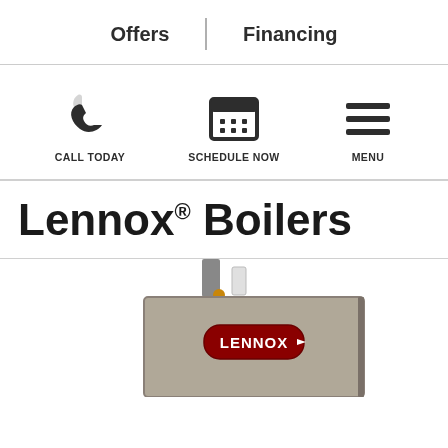Offers | Financing
[Figure (infographic): Three action icons: phone (CALL TODAY), calendar (SCHEDULE NOW), and hamburger menu (MENU)]
Lennox® Boilers
[Figure (photo): Lennox boiler unit, tan/gray colored, with pipes on top and Lennox logo on front]